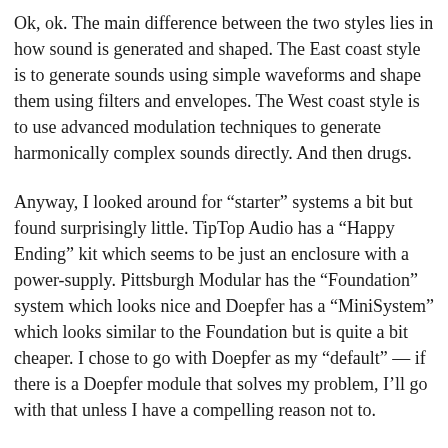Ok, ok. The main difference between the two styles lies in how sound is generated and shaped. The East coast style is to generate sounds using simple waveforms and shape them using filters and envelopes. The West coast style is to use advanced modulation techniques to generate harmonically complex sounds directly. And then drugs.
Anyway, I looked around for “starter” systems a bit but found surprisingly little. TipTop Audio has a “Happy Ending” kit which seems to be just an enclosure with a power-supply. Pittsburgh Modular has the “Foundation” system which looks nice and Doepfer has a “MiniSystem” which looks similar to the Foundation but is quite a bit cheaper. I chose to go with Doepfer as my “default” — if there is a Doepfer module that solves my problem, I’ll go with that unless I have a compelling reason not to.
Why Doepfer? They pioneered the Eurorack format. They are